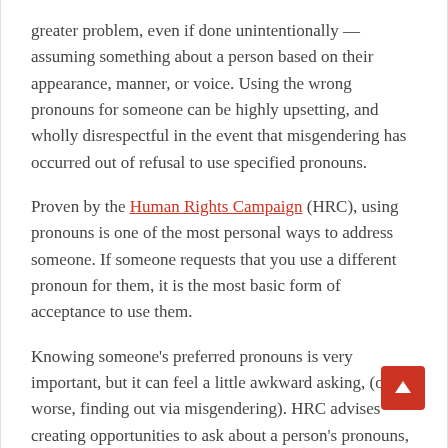greater problem, even if done unintentionally — assuming something about a person based on their appearance, manner, or voice. Using the wrong pronouns for someone can be highly upsetting, and wholly disrespectful in the event that misgendering has occurred out of refusal to use specified pronouns.
Proven by the Human Rights Campaign (HRC), using pronouns is one of the most personal ways to address someone. If someone requests that you use a different pronoun for them, it is the most basic form of acceptance to use them.
Knowing someone's preferred pronouns is very important, but it can feel a little awkward asking, (or worse, finding out via misgendering). HRC advises creating opportunities to ask about a person's pronouns, such as during the interviewing process, or